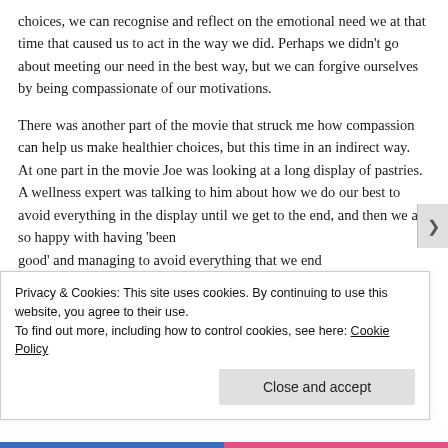choices, we can recognise and reflect on the emotional need we at that time that caused us to act in the way we did. Perhaps we didn't go about meeting our need in the best way, but we can forgive ourselves by being compassionate of our motivations.
There was another part of the movie that struck me how compassion can help us make healthier choices, but this time in an indirect way.  At one part in the movie Joe was looking at a long display of pastries.  A wellness expert was talking to him about how we do our best to avoid everything in the display until we get to the end, and then we are so happy with having 'been good' and managing to avoid everything that we end
Privacy & Cookies: This site uses cookies. By continuing to use this website, you agree to their use.
To find out more, including how to control cookies, see here: Cookie Policy
Close and accept